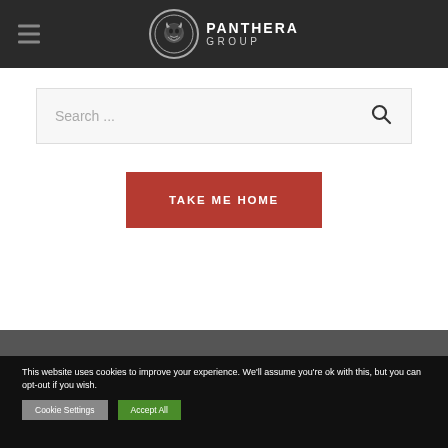[Figure (logo): Panthera Group logo with panther head in circle and text PANTHERA GROUP]
[Figure (screenshot): Search bar with placeholder text 'Search ...' and magnifying glass icon]
TAKE ME HOME
This website uses cookies to improve your experience. We'll assume you're ok with this, but you can opt-out if you wish.
Cookie Settings
Accept All